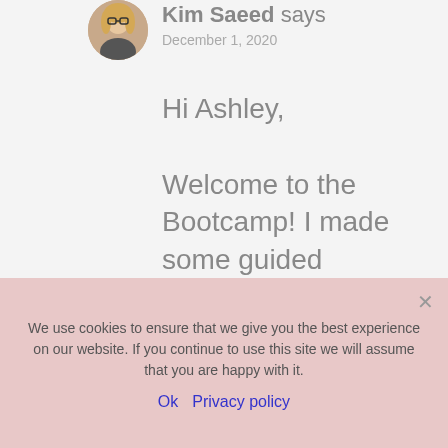Kim Saeed says
December 1, 2020
Hi Ashley,

Welcome to the Bootcamp! I made some guided meditations exclusively for the course. I would recommend listening to those every night
We use cookies to ensure that we give you the best experience on our website. If you continue to use this site we will assume that you are happy with it.
Ok  Privacy policy